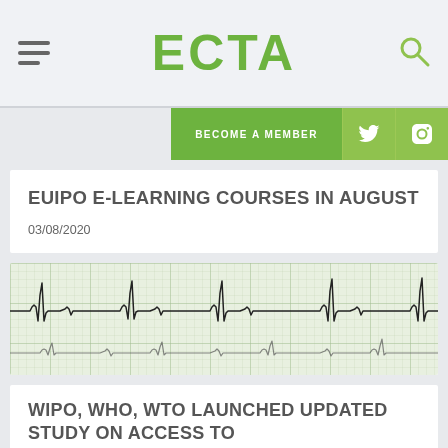ECTA
BECOME A MEMBER
EUIPO E-LEARNING COURSES IN AUGUST
03/08/2020
[Figure (photo): ECG/EKG cardiac monitor strip on grid paper showing heartbeat waveforms]
WIPO, WHO, WTO LAUNCHED UPDATED STUDY ON ACCESS TO